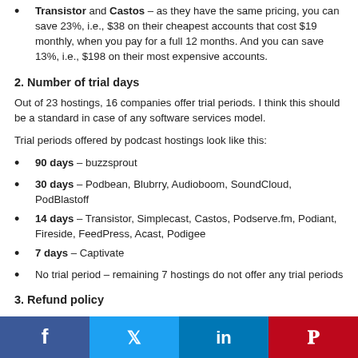Transistor and Castos – as they have the same pricing, you can save 23%, i.e., $38 on their cheapest accounts that cost $19 monthly, when you pay for a full 12 months. And you can save 13%, i.e., $198 on their most expensive accounts.
2. Number of trial days
Out of 23 hostings, 16 companies offer trial periods. I think this should be a standard in case of any software services model.
Trial periods offered by podcast hostings look like this:
90 days – buzzsprout
30 days – Podbean, Blubrry, Audioboom, SoundCloud, PodBlastoff
14 days – Transistor, Simplecast, Castos, Podserve.fm, Podiant, Fireside, FeedPress, Acast, Podigee
7 days – Captivate
No trial period – remaining 7 hostings do not offer any trial periods
3. Refund policy
Refund policy offered by media hostings can be broadly categorized into groups: